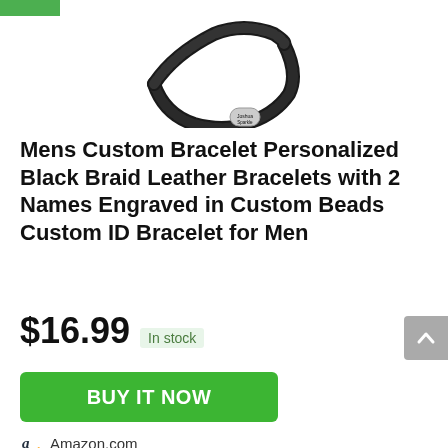[Figure (photo): Partial view of a black braided leather bracelet with silver engraved beads showing 'Joshua' and 'Sparkle' text, photographed on white background. A green bar is visible in the top left corner.]
Mens Custom Bracelet Personalized Black Braid Leather Bracelets with 2 Names Engraved in Custom Beads Custom ID Bracelet for Men
$16.99 In stock
BUY IT NOW
Amazon.com